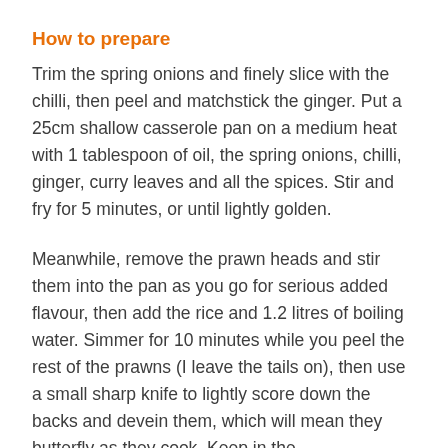How to prepare
Trim the spring onions and finely slice with the chilli, then peel and matchstick the ginger. Put a 25cm shallow casserole pan on a medium heat with 1 tablespoon of oil, the spring onions, chilli, ginger, curry leaves and all the spices. Stir and fry for 5 minutes, or until lightly golden.
Meanwhile, remove the prawn heads and stir them into the pan as you go for serious added flavour, then add the rice and 1.2 litres of boiling water. Simmer for 10 minutes while you peel the rest of the prawns (I leave the tails on), then use a small sharp knife to lightly score down the backs and devein them, which will mean they butterfly as they cook. Keep in the